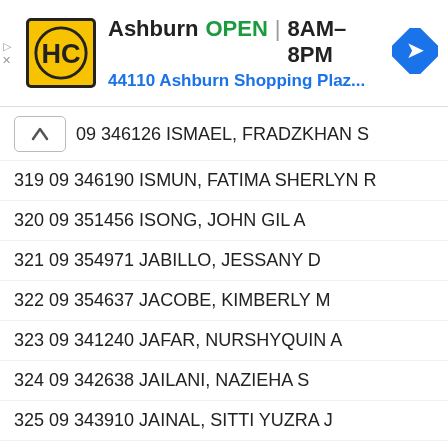[Figure (screenshot): Advertisement banner for Hairclub (HC) at Ashburn location, showing logo, open hours 8AM-8PM, and address 44110 Ashburn Shopping Plaz...]
09 346126 ISMAEL, FRADZKHAN S
319 09 346190 ISMUN, FATIMA SHERLYN R
320 09 351456 ISONG, JOHN GIL A
321 09 354971 JABILLO, JESSANY D
322 09 354637 JACOBE, KIMBERLY M
323 09 341240 JAFAR, NURSHYQUIN A
324 09 342638 JAILANI, NAZIEHA S
325 09 343910 JAINAL, SITTI YUZRA J
326 09 346458 JAKILAN, ZAIDEE A
327 09 342875 JALANI, DONNA DIANA A
328 09 361741 JALOSJOS, IRISH CHARM Y
329 09 360863 JALUILAN, MA ALOHA D